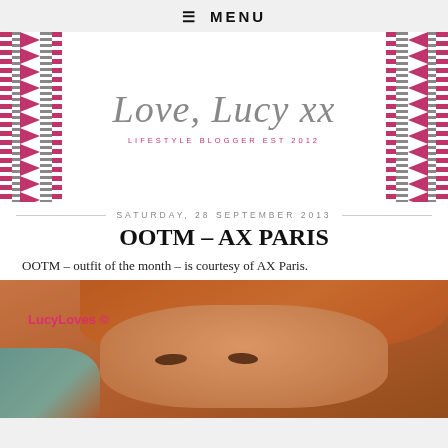≡ MENU
[Figure (logo): Love, Lucy xx lifestyle blog header banner with decorative pink and gray zigzag borders on left and right sides. Center shows cursive gray text 'Love, Lucy xx' with tagline 'LIFESTYLE BLOGGER EST 2012' in pink uppercase letters.]
SATURDAY, 28 SEPTEMBER 2013
OOTM – AX PARIS
OOTM – outfit of the month – is courtesy of AX Paris.
[Figure (photo): Close-up photo of a woman with reddish-auburn hair. The image is warm-toned and slightly blurred. A pink watermark reads 'LucyLoves ©' in the lower-left area of the photo. There is a teal/turquoise background visible at the bottom-left corner.]